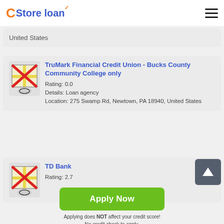Store loan
United States
TruMark Financial Credit Union - Bucks County Community College only
Rating: 0.0
Details: Loan agency
Location: 275 Swamp Rd, Newtown, PA 18940, United States
TD Bank
Rating: 2.7
Apply Now
Applying does NOT affect your credit score!
No credit check to apply.